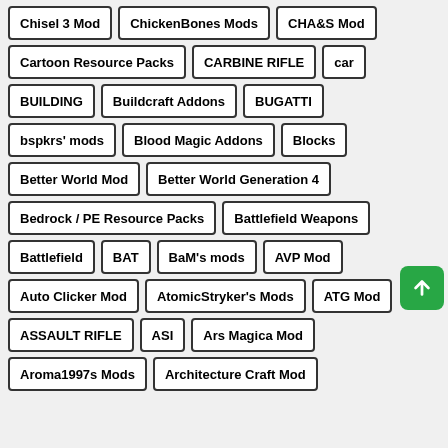Chisel 3 Mod
ChickenBones Mods
CHA&S Mod
Cartoon Resource Packs
CARBINE RIFLE
car
BUILDING
Buildcraft Addons
BUGATTI
bspkrs' mods
Blood Magic Addons
Blocks
Better World Mod
Better World Generation 4
Bedrock / PE Resource Packs
Battlefield Weapons
Battlefield
BAT
BaM's mods
AVP Mod
Auto Clicker Mod
AtomicStryker's Mods
ATG Mod
ASSAULT RIFLE
ASI
Ars Magica Mod
Aroma1997s Mods
Architecture Craft Mod